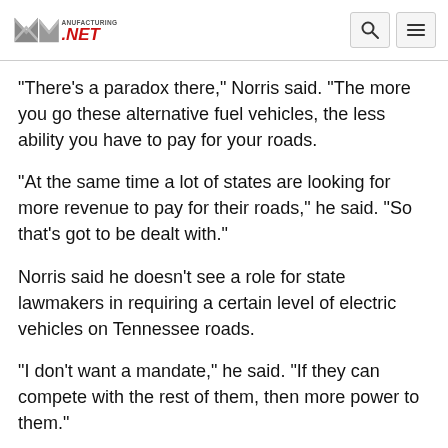Manufacturing.net
"There's a paradox there," Norris said. "The more you go these alternative fuel vehicles, the less ability you have to pay for your roads.
"At the same time a lot of states are looking for more revenue to pay for their roads," he said. "So that's got to be dealt with."
Norris said he doesn't see a role for state lawmakers in requiring a certain level of electric vehicles on Tennessee roads.
"I don't want a mandate," he said. "If they can compete with the rest of them, then more power to them."